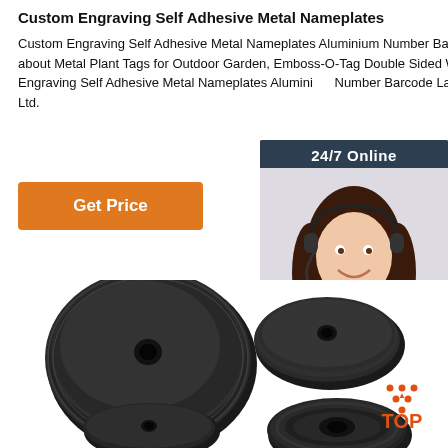Custom Engraving Self Adhesive Metal Nameplates
Custom Engraving Self Adhesive Metal Nameplates Aluminium Number Barcode Label, Find Details about Metal Plant Tags for Outdoor Garden, Emboss-O-Tag Double Sided Write from Custom Engraving Self Adhesive Metal Nameplates Aluminium Number Barcode Label - AQ Pins & Gifts Co., Ltd.
[Figure (other): Get Price orange button]
[Figure (other): 24/7 Online customer service chat widget with woman wearing headset, 'Click here for free chat!' text and orange QUOTATION button]
[Figure (photo): Four black metal disc nameplates/tags shown from various angles - two large flat discs with center holes in top row, two smaller discs in bottom row]